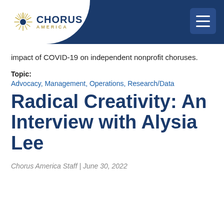[Figure (logo): Chorus America logo with sunburst icon, blue text CHORUS and gold text AMERICA]
impact of COVID-19 on independent nonprofit choruses.
Topic:
Advocacy, Management, Operations, Research/Data
Radical Creativity: An Interview with Alysia Lee
Chorus America Staff | June 30, 2022